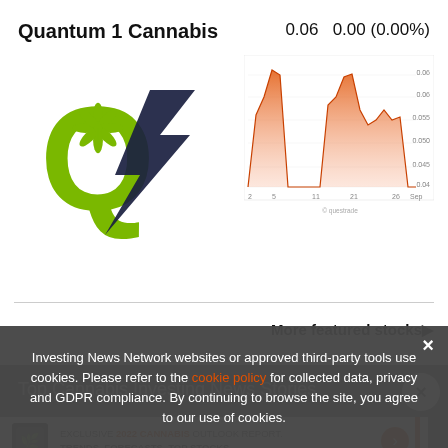Quantum 1 Cannabis
0.06  0.00 (0.00%)
[Figure (logo): Q4 Cannabis logo: large green Q with cannabis leaf and dark blue lightning bolt slash]
[Figure (area-chart): Stock price area chart showing price history with red/orange shaded area, y-axis values from approximately 0.04 to 0.06, x-axis showing dates]
More featured stocks▶
Top Cannabis Investing News Stories
[Figure (infographic): Advertisement: EXCLUSIVE 2022 CANNABIS OUTLOOK REPORT. TRENDS. FORECASTS. TOP STOCKS. with book icon and orange arrow button]
Investing News Network websites or approved third-party tools use cookies. Please refer to the cookie policy for collected data, privacy and GDPR compliance. By continuing to browse the site, you agree to our use of cookies.